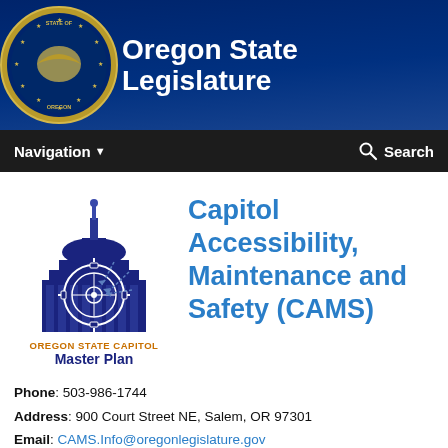Oregon State Legislature
[Figure (logo): Oregon State Capitol Master Plan logo with Capitol building illustration and gear/crosshair design]
Capitol Accessibility, Maintenance and Safety (CAMS)
Phone: 503-986-1744
Address: 900 Court Street NE, Salem, OR 97301
Email: CAMS.Info@oregonlegislature.gov